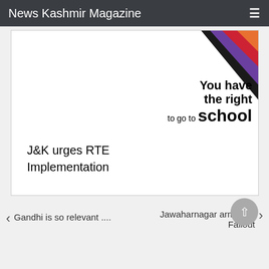News Kashmir Magazine
[Figure (illustration): Image card showing colorful triangles in top-right corner with text 'You have the right to go to school' and caption 'J&K urges RTE Implementation']
J&K urges RTE Implementation
Gandhi is so relevant ....
Jawaharnagar arm Loot Fallout